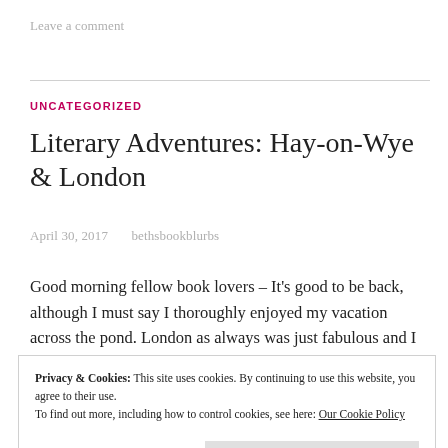Leave a comment
UNCATEGORIZED
Literary Adventures: Hay-on-Wye & London
April 30, 2017    bethsbookblurbs
Good morning fellow book lovers – It's good to be back, although I must say I thoroughly enjoyed my vacation across the pond. London as always was just fabulous and I
Privacy & Cookies: This site uses cookies. By continuing to use this website, you agree to their use.
To find out more, including how to control cookies, see here: Our Cookie Policy
Close and accept
Child yet, it is a MUST see. We kept checking for return